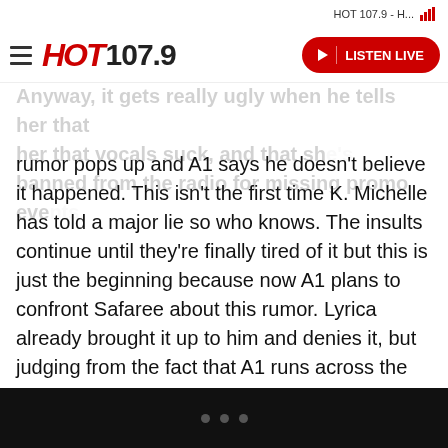HOT 107.9 - H...
[Figure (logo): HOT 107.9 radio station logo with hamburger menu and Listen Live button]
Anyway, it gets really ugly when he tells her that her vocals suck, and that she's banned from the radio for missing promo events.
rumor pops up and A1 says he doesn't believe it happened. This isn't the first time K. Michelle has told a major lie so who knows. The insults continue until they're finally tired of it but this is just the beginning because now A1 plans to confront Safaree about this rumor. Lyrica already brought it up to him and denies it, but judging from the fact that A1 runs across the table to charge at Safaree, we can assume the latter doesn't give a desirable answer.